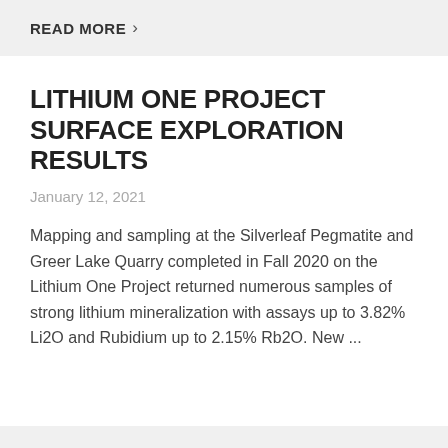READ MORE  >
LITHIUM ONE PROJECT SURFACE EXPLORATION RESULTS
January 12, 2021
Mapping and sampling at the Silverleaf Pegmatite and Greer Lake Quarry completed in Fall 2020 on the Lithium One Project returned numerous samples of strong lithium mineralization with assays up to 3.82% Li2O and Rubidium up to 2.15% Rb2O. New ...